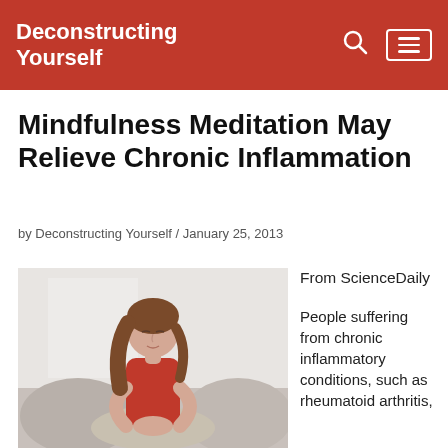Deconstructing Yourself
Mindfulness Meditation May Relieve Chronic Inflammation
by Deconstructing Yourself / January 25, 2013
[Figure (photo): Woman in red top sitting cross-legged in a meditation pose on a couch, eyes closed]
From ScienceDaily

People suffering from chronic inflammatory conditions, such as rheumatoid arthritis,